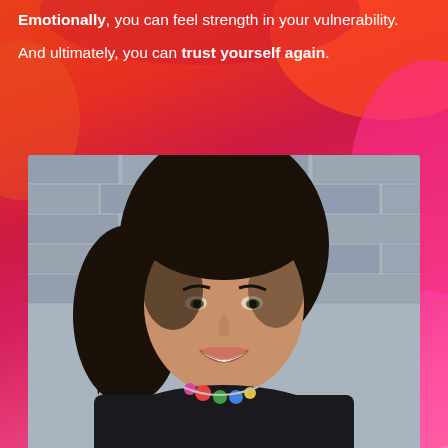Emotionally, you can feel strength in your vulnerability.

And ultimately, you can trust yourself again.
[Figure (photo): Portrait photo of a woman with dark hair, smiling, wearing a colorful necklace and dark top, standing in front of a grey brick wall]